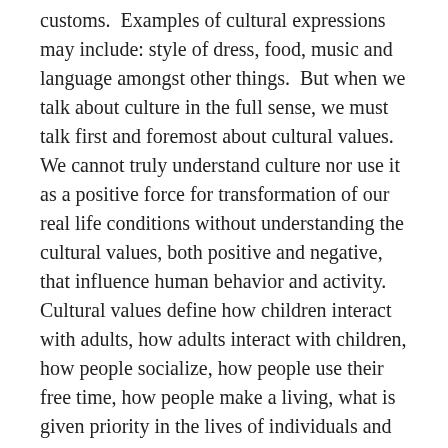customs.  Examples of cultural expressions may include: style of dress, food, music and language amongst other things.  But when we talk about culture in the full sense, we must talk first and foremost about cultural values. We cannot truly understand culture nor use it as a positive force for transformation of our real life conditions without understanding the cultural values, both positive and negative, that influence human behavior and activity. Cultural values define how children interact with adults, how adults interact with children, how people socialize, how people use their free time, how people make a living, what is given priority in the lives of individuals and the community, etc.
Culture itself is simply a product of the ongoing activities of human beings/communities and their